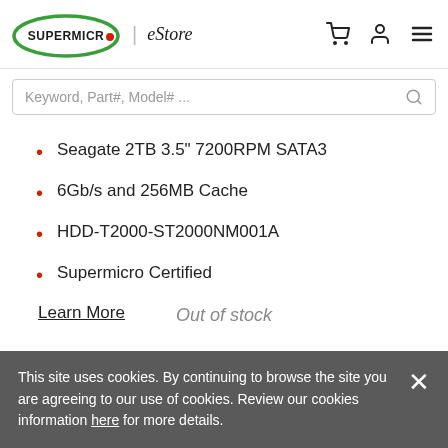SUPERMICRO | eStore
Keyword, Part#, Model# ...
Seagate 2TB 3.5" 7200RPM SATA3
6Gb/s and 256MB Cache
HDD-T2000-ST2000NM001A
Supermicro Certified
Learn More
Out of stock
This site uses cookies. By continuing to browse the site you are agreeing to our use of cookies. Review our cookies information here for more details.